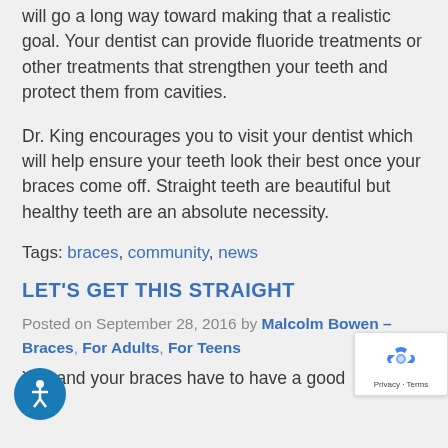will go a long way toward making that a realistic goal. Your dentist can provide fluoride treatments or other treatments that strengthen your teeth and protect them from cavities.
Dr. King encourages you to visit your dentist which will help ensure your teeth look their best once your braces come off. Straight teeth are beautiful but healthy teeth are an absolute necessity.
Tags: braces, community, news
LET'S GET THIS STRAIGHT
Posted on September 28, 2016 by Malcolm Bowen – Braces, For Adults, For Teens
You and your braces have to have a good
[Figure (logo): reCAPTCHA badge with recycling arrow logo and Privacy - Terms text]
[Figure (illustration): Blue circular accessibility icon with stick figure person]